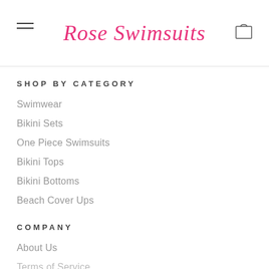Rose Swimsuits
SHOP BY CATEGORY
Swimwear
Bikini Sets
One Piece Swimsuits
Bikini Tops
Bikini Bottoms
Beach Cover Ups
COMPANY
About Us
Terms of Service